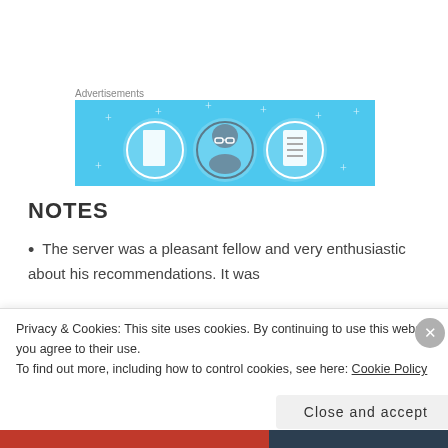Advertisements
[Figure (illustration): Advertisement banner with light blue background showing three circular icons: a door, a person wearing glasses, and a document/list, with small star/sparkle decorations.]
NOTES
The server was a pleasant fellow and very enthusiastic about his recommendations. It was
Privacy & Cookies: This site uses cookies. By continuing to use this website, you agree to their use.
To find out more, including how to control cookies, see here: Cookie Policy
Close and accept